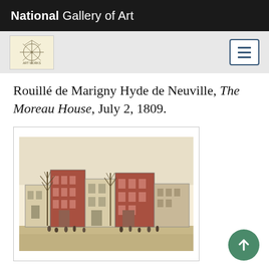National Gallery of Art
Rouillé de Marigny Hyde de Neuville, The Moreau House, July 2, 1809.
[Figure (illustration): A historical sketch/illustration showing a row of multi-story brick buildings along a street, with bare trees and small figures of people in the foreground.]
Anne-Marguerite-Henriette